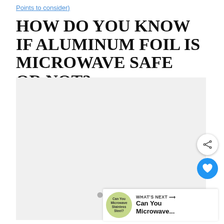Points to consider)
HOW DO YOU KNOW IF ALUMINUM FOIL IS MICROWAVE SAFE OR NOT?
[Figure (photo): Large light gray placeholder image area with three gray dots at the bottom center, representing an image carousel or loading image. A blue circular heart/favorite FAB button and a white circular share FAB button appear on the right side.]
WHAT'S NEXT → Can You Microwave...